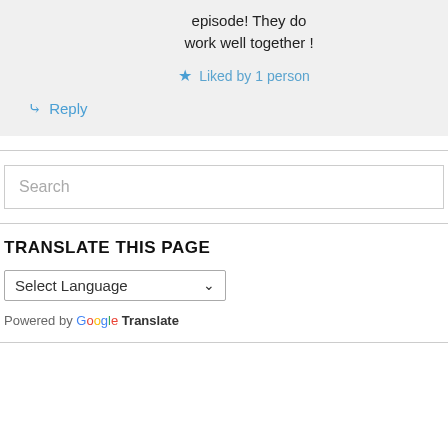episode! They do work well together !
Liked by 1 person
Reply
Search
TRANSLATE THIS PAGE
Select Language
Powered by Google Translate